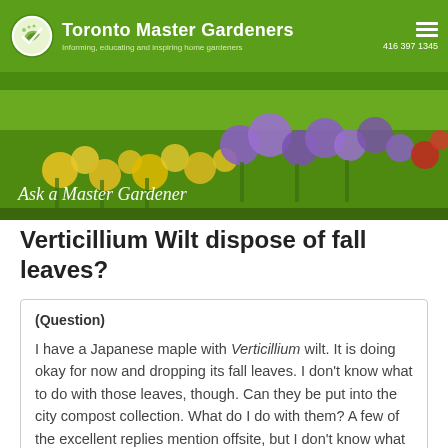Toronto Master Gardeners — Informing, educating and inspiring home gardeners — 416 397 1345
[Figure (photo): Banner photo of a colorful garden with purple and yellow wildflowers, overlaid with text 'Ask a Master Gardener']
Verticillium Wilt dispose of fall leaves?
(Question)
I have a Japanese maple with Verticillium wilt. It is doing okay for now and dropping its fall leaves. I don't know what to do with those leaves, though. Can they be put into the city compost collection. What do I do with them? A few of the excellent replies mention offsite, but I don't know what that actually means.